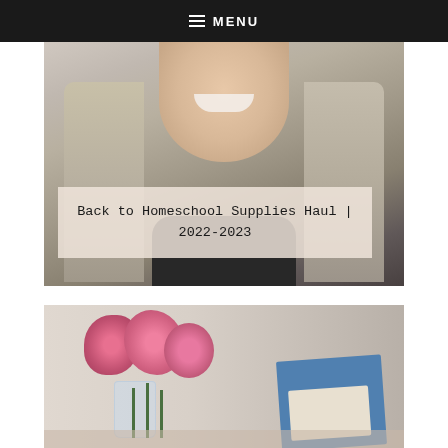MENU
[Figure (photo): Woman with blonde hair smiling, with a semi-transparent overlay showing the title 'Back to Homeschool Supplies Haul | 2022-2023']
Back to Homeschool Supplies Haul | 2022-2023
[Figure (photo): Pink peony flowers in a glass jar on a table next to a book]